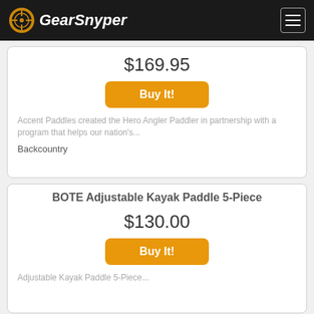GearSnyper
$169.95
Buy It!
Accent Paddles created the Hero Angler Paddler in partnership with a program that helps our nation's...
Backcountry
BOTE Adjustable Kayak Paddle 5-Piece
$130.00
Buy It!
Adjustable Kayak Paddle 5-Piece...